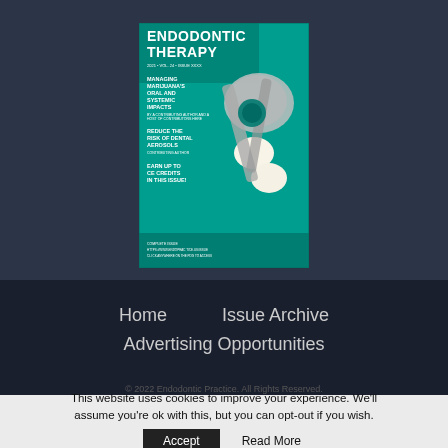[Figure (illustration): Magazine cover of Endodontic Therapy journal. Teal/green background showing dental extraction tools holding teeth. White bold text reads ENDODONTIC THERAPY with bullet points: MANAGING MARIJUANA'S ORAL AND SYSTEMIC IMPACTS, REDUCE THE RISK OF DENTAL AEROSOLS, EARN UP TO CE CREDITS IN THIS ISSUE.]
Home   Issue Archive   Advertising Opportunities
© 2022 Endodontic Practice. All Rights Reserved.
This website uses cookies to improve your experience. We'll assume you're ok with this, but you can opt-out if you wish. Accept   Read More